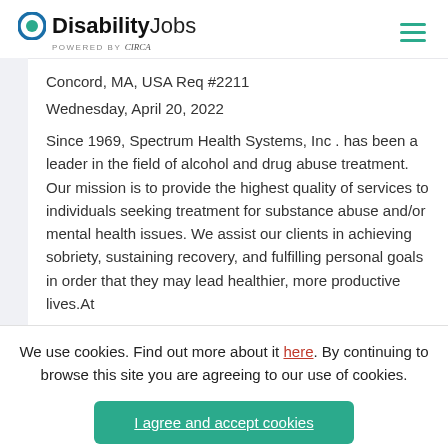DisabilityJobs powered by Circa
Concord, MA, USA Req #2211
Wednesday, April 20, 2022
Since 1969, Spectrum Health Systems, Inc . has been a leader in the field of alcohol and drug abuse treatment. Our mission is to provide the highest quality of services to individuals seeking treatment for substance abuse and/or mental health issues. We assist our clients in achieving sobriety, sustaining recovery, and fulfilling personal goals in order that they may lead healthier, more productive lives.At
We use cookies. Find out more about it here. By continuing to browse this site you are agreeing to our use of cookies.
I agree and accept cookies